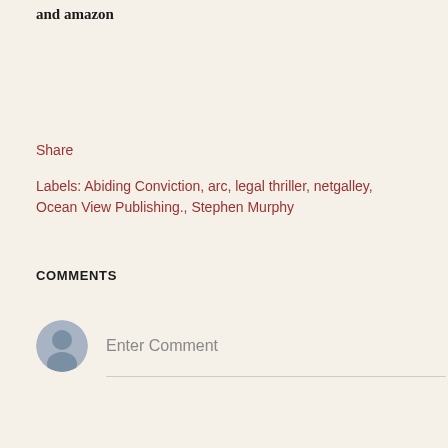and amazon
Share
Labels: Abiding Conviction, arc, legal thriller, netgalley, Ocean View Publishing., Stephen Murphy
COMMENTS
[Figure (illustration): Gray default user avatar icon (silhouette of a person in a circle) next to an 'Enter Comment' placeholder text with an underline beneath it]